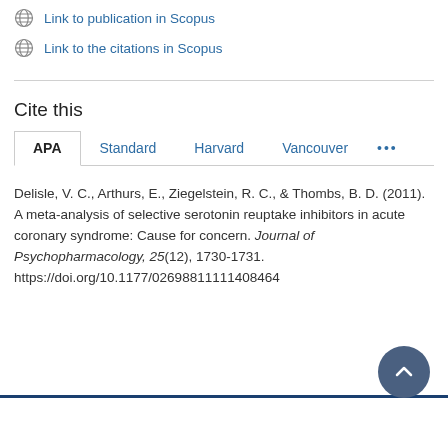Link to publication in Scopus
Link to the citations in Scopus
Cite this
APA | Standard | Harvard | Vancouver | ...
Delisle, V. C., Arthurs, E., Ziegelstein, R. C., & Thombs, B. D. (2011). A meta-analysis of selective serotonin reuptake inhibitors in acute coronary syndrome: Cause for concern. Journal of Psychopharmacology, 25(12), 1730-1731. https://doi.org/10.1177/02698811111408464